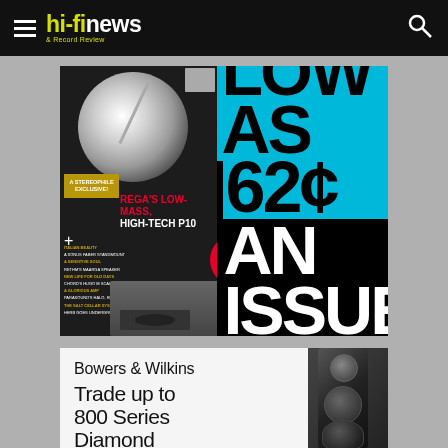hi-fi news & Record Review
[Figure (advertisement): Magazine subscription advertisement showing Hi-Fi News magazine cover with Rega P10 turntable and text 'LOW AS 62¢ AN ISSUE']
[Figure (advertisement): Bowers & Wilkins advertisement with 800 Series Diamond speaker. Text: 'Bowers & Wilkins - Trade up to 800 Series Diamond']